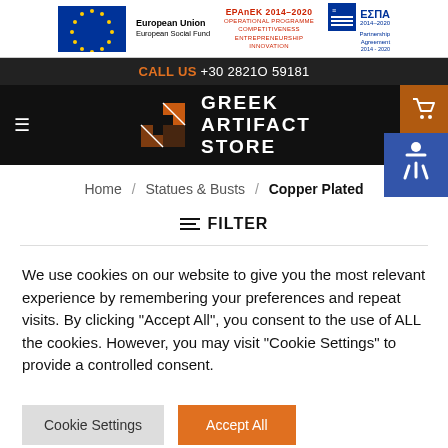[Figure (logo): EU banner with European Union European Social Fund logo, EPAnEK 2014-2020 Operational Programme Competitiveness Entrepreneurship Innovation, and ESPA 2014-2020 Partnership Agreement logos]
CALL US +30 2821O 59181
[Figure (logo): Greek Artifact Store logo with geometric arrow/G icon and text GREEK ARTIFACT STORE on dark background, with shopping cart button and accessibility button]
Home / Statues & Busts / Copper Plated
≡= FILTER
We use cookies on our website to give you the most relevant experience by remembering your preferences and repeat visits. By clicking "Accept All", you consent to the use of ALL the cookies. However, you may visit "Cookie Settings" to provide a controlled consent.
Cookie Settings   Accept All